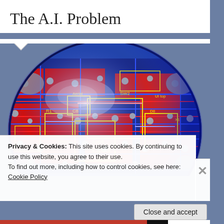The A.I. Problem
[Figure (photo): A spherical ball textured with a printed circuit board (PCB) design, featuring red and blue circuit traces, yellow component outlines, component labels such as SW2, Aerial, UI top, Front, R1, C8, PROG, Evo4 Control PCB V1.2, and grey solder pads, photographed against a bluish-grey background.]
Privacy & Cookies: This site uses cookies. By continuing to use this website, you agree to their use.
To find out more, including how to control cookies, see here: Cookie Policy
Close and accept